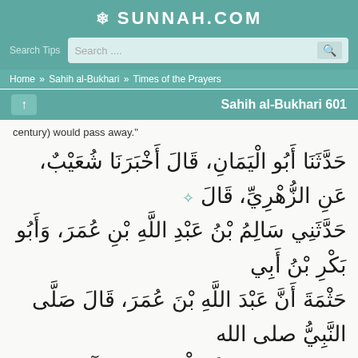SUNNAH.COM
Search Tips  Search....
Home » Sahih al-Bukhari » Times of the Prayers
Sahih al-Bukhari 601
century) would pass away."
حَدَّثَنَا أَبُو الْيَمَانِ، قَالَ أَخْبَرَنَا شُعَيْبٌ، عَنِ الزُّهْرِيِّ، قَالَ حَدَّثَنِي سَالِمُ بْنُ عَبْدِ اللَّهِ بْنِ عُمَرَ، وَأَبُو بَكْرِ بْنُ أَبِي حَثْمَةَ أَنَّ عَبْدَ اللَّهِ بْنَ عُمَرَ، قَالَ صَلَّى النَّبِيُّ صلى الله عليه وسلم صَلاَةَ الْعِشَاءِ فِي آخِرِ حَيَاتِهِ، فَلَمَّا سَلَّمَ قَامَ النَّبِيُّ صلى الله عليه وسلم فَقَالَ " أَرَأَيْتُكُمْ لَيْلَتَكُمْ هَذِهِ فَإِنَّ رَأْسَ مِائَةٍ لاَ يَبْقَى مِمَّنْ هُوَ الْيَوْمَ عَلَى ظَهْر